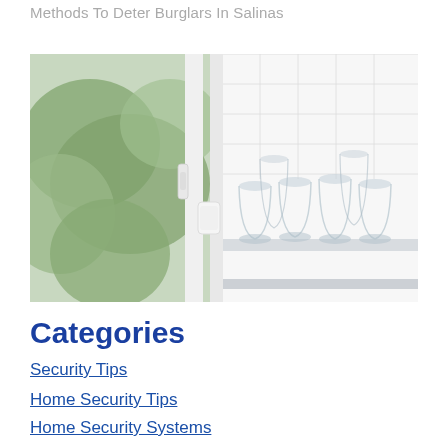Methods To Deter Burglars In Salinas
[Figure (photo): A close-up photo of a white window with a security sensor/alarm device attached to the frame, with green foliage visible through the glass on the left and shelves with clear drinking glasses visible on the right.]
Categories
Security Tips
Home Security Tips
Home Security Systems